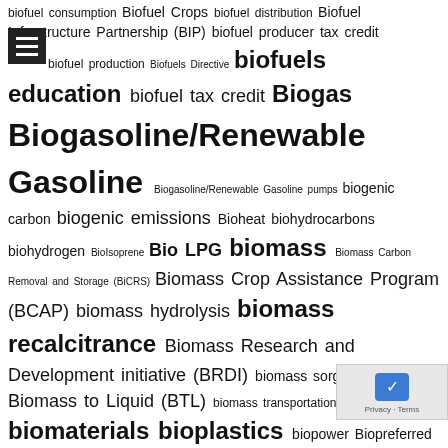biofuel consumption Biofuel Crops biofuel distribution Biofuel Infrastructure Partnership (BIP) biofuel producer tax credit biofuel production Biofuels Directive biofuels education biofuel tax credit Biogas Biogasoline/Renewable Gasoline Biogasoline/Renewable Gasoline pumps biogenic carbon biogenic emissions Bioheat biohydrocarbons biohydrogen BioIsoprene Bio LPG biomass Biomass Carbon Removal and Storage (BiCRS) Biomass Crop Assistance Program (BCAP) biomass hydrolysis biomass recalcitrance Biomass Research and Development initiative (BRDI) biomass sorghum Biomass to Liquid (BTL) biomass transportation biomaterials bioplastics biopower Biopreferred bioproducts biopropene BioRefineries/Renewable Fuel Production Biorefinery Assistance Program (BAP) old 9003 Biorefinery Renewable Chemical Biobased Product Mfgr Assistance 9003 BioRenewable-1 (BR-1) BioSNG Biotechnology birch bitter orange black carbon black grease black liquor black soldier fly blender blender pumps Blenders Credit blending blendstock Blend wall blockchain boat fuel Bolivia bolt-on Bonaire bonds book-and-claim border tax Borneo Bosnia and Herzegovina Botswana BQ-9 bracken brackish water brash Brassica Brazil breweries brine Columbia broker brownfields brown grease Brunei Btu's BTX